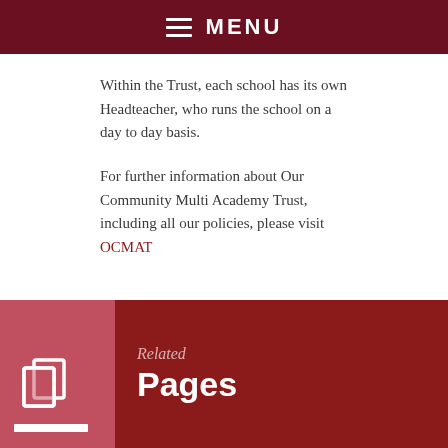MENU
Within the Trust, each school has its own Headteacher, who runs the school on a day to day basis.
For further information about Our Community Multi Academy Trust, including all our policies, please visit OCMAT
[Figure (infographic): Dark red banner with 'Related Pages' heading and white document/pages icon on a lighter red square background with a white horizontal bar beneath the icon]